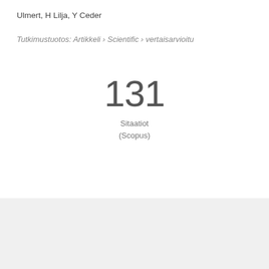Ulmert, H Lilja, Y Ceder
Tutkimustuotos: Artikkeli › Scientific › vertaisarvioitu
131
Sitaatiot
(Scopus)
Yleiskatsaus